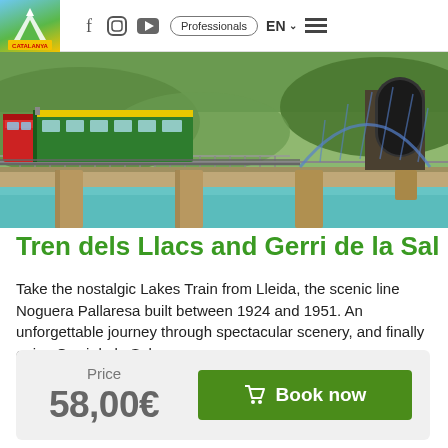Pirinous | Professionals | EN | Navigation menu
[Figure (photo): Train (red and green) crossing a large concrete viaduct bridge over a turquoise river, with a tunnel entrance on the right side and green hillside scenery]
Tren dels Llacs and Gerri de la Sal
Take the nostalgic Lakes Train from Lleida, the scenic line Noguera Pallaresa built between 1924 and 1951. An unforgettable journey through spectacular scenery, and finally enjoy Gerri de la Sal, a
... més info
| Price | Action |
| --- | --- |
| 58,00€ | Book now |